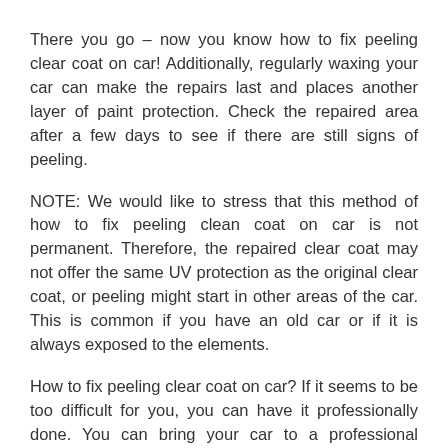There you go – now you know how to fix peeling clear coat on car! Additionally, regularly waxing your car can make the repairs last and places another layer of paint protection. Check the repaired area after a few days to see if there are still signs of peeling.
NOTE: We would like to stress that this method of how to fix peeling clean coat on car is not permanent. Therefore, the repaired clear coat may not offer the same UV protection as the original clear coat, or peeling might start in other areas of the car. This is common if you have an old car or if it is always exposed to the elements.
How to fix peeling clear coat on car? If it seems to be too difficult for you, you can have it professionally done. You can bring your car to a professional detailer like DetailXPerts. We have plenty of experience in fixing this issue easy. Schedule an appointment today.